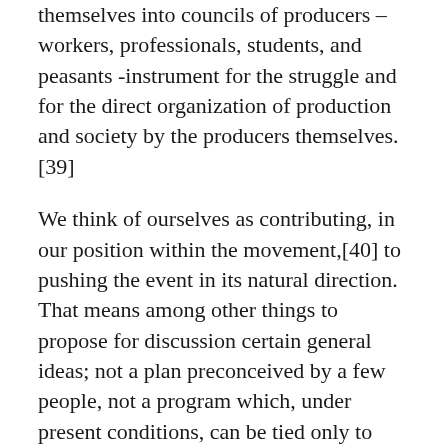themselves into councils of producers – workers, professionals, students, and peasants -instrument for the struggle and for the direct organization of production and society by the producers themselves. [39]
We think of ourselves as contributing, in our position within the movement,[40] to pushing the event in its natural direction. That means among other things to propose for discussion certain general ideas; not a plan preconceived by a few people, not a program which, under present conditions, can be tied only to organizations of the old type, by all the evidence maladapted to periods of social crisis.
These general ideas relate above all to the principles on which societies do or might function. Capitalist society without doubt still functions in the way stone